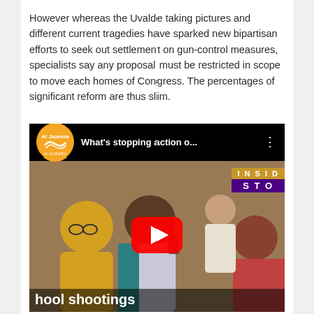However whereas the Uvalde taking pictures and different current tragedies have sparked new bipartisan efforts to seek out settlement on gun-control measures, specialists say any proposal must be restricted in scope to move each homes of Congress. The percentages of significant reform are thus slim.
[Figure (screenshot): Al Jazeera YouTube video embed thumbnail showing people embracing after a school shooting, with title 'What's stopping action o...' and bottom caption 'hool shootings'. Inside Story badge visible in top right.]